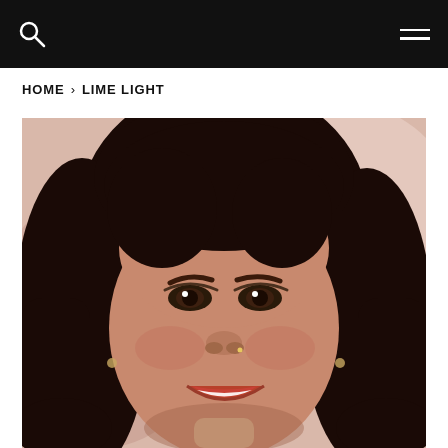HOME › LIME LIGHT
[Figure (photo): Close-up portrait photo of a woman with dark hair, wearing makeup with smoky eyes and a smile, against a soft pink background.]